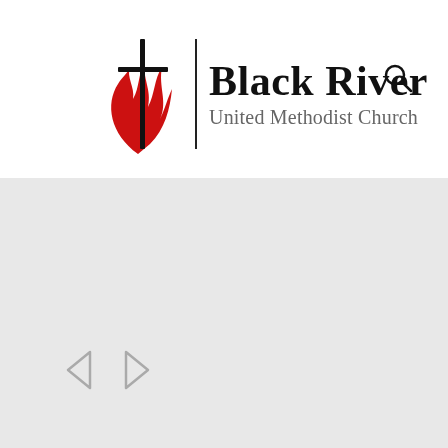[Figure (logo): Black River United Methodist Church logo with UMC flame cross symbol, church name in bold serif, and subtitle 'United Methodist Church' in gray]
[Figure (other): Light gray content area below the header, with left and right navigation arrow buttons at the bottom left]